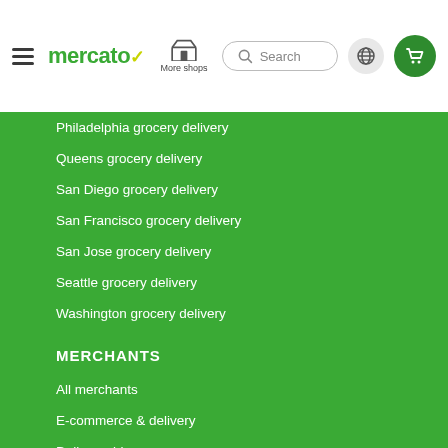mercato | More shops | Search | Globe | Cart
Philadelphia grocery delivery
Queens grocery delivery
San Diego grocery delivery
San Francisco grocery delivery
San Jose grocery delivery
Seattle grocery delivery
Washington grocery delivery
MERCHANTS
All merchants
E-commerce & delivery
Delivery drivers
Grocery delivery services
Merchant sign-in
About us